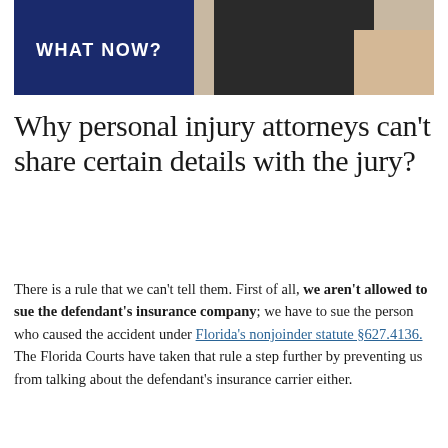[Figure (photo): Header image showing text 'WHAT NOW?' on a dark navy background on the left, and a person in dark clothing on the right, partially visible]
Why personal injury attorneys can't share certain details with the jury?
There is a rule that we can't tell them. First of all, we aren't allowed to sue the defendant's insurance company; we have to sue the person who caused the accident under Florida's nonjoinder statute §627.4136. The Florida Courts have taken that rule a step further by preventing us from talking about the defendant's insurance carrier either.